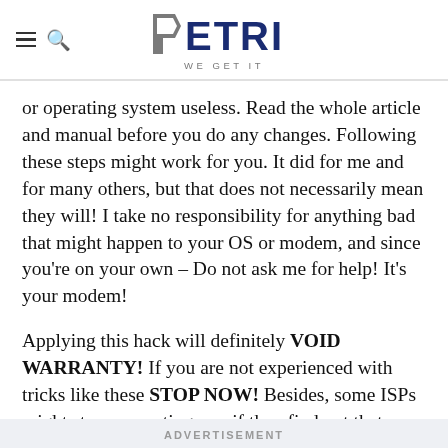PETRI WE GET IT
or operating system useless. Read the whole article and manual before you do any changes. Following these steps might work for you. It did for me and for many others, but that does not necessarily mean they will! I take no responsibility for anything bad that might happen to your OS or modem, and since you're on your own – Do not ask me for help! It's your modem!
Applying this hack will definitely VOID WARRANTY! If you are not experienced with tricks like these STOP NOW! Besides, some ISPs might stop supporting you if they find out that you messed up with your modem.
ADVERTISEMENT